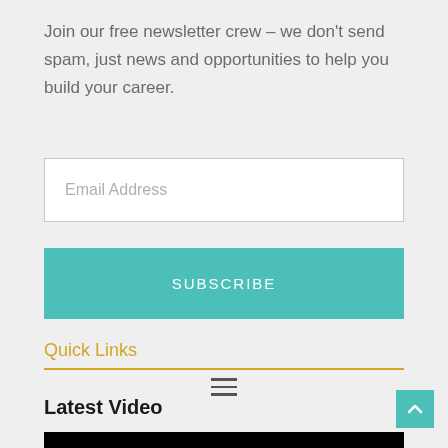Join our free newsletter crew – we don't send spam, just news and opportunities to help you build your career.
[Figure (screenshot): Email Address input field (text input box with placeholder text 'Email Address')]
[Figure (screenshot): SUBSCRIBE button in teal/turquoise color]
Quick Links
[Figure (other): Hamburger menu icon (three horizontal lines) below a gold horizontal rule]
Latest Video
[Figure (screenshot): Back to top button (teal square with upward chevron arrow) in bottom right]
[Figure (screenshot): Black video bar at the bottom of the page]